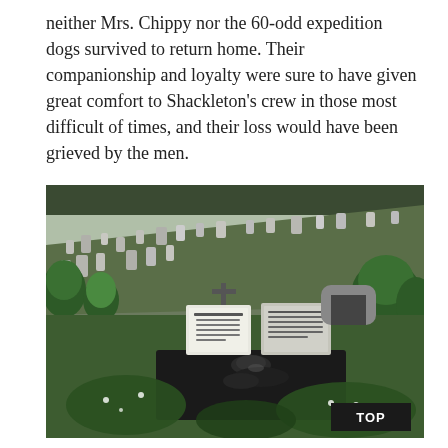neither Mrs. Chippy nor the 60-odd expedition dogs survived to return home. Their companionship and loyalty were sure to have given great comfort to Shackleton's crew in those most difficult of times, and their loss would have been grieved by the men.
[Figure (photo): Photograph of a cemetery with numerous gravestones and lush green trees on a hillside. In the foreground is a grave with a bronze cat sculpture lying on a dark stone slab, surrounded by flowering plants and ivy. Two white memorial plaques are visible in the center background. A black box in the lower right corner reads 'TOP'.]